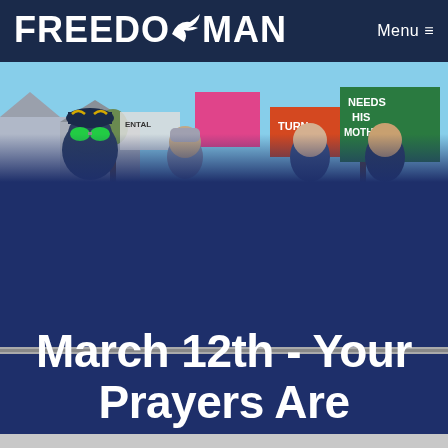FREEDOMAN  Menu ≡
[Figure (photo): Outdoor protest rally scene with people holding signs including one pink sign and a green sign reading 'NEEDS HIS MOTHER!', protesters wearing hats and sunglasses]
March 12th - Your Prayers Are Working